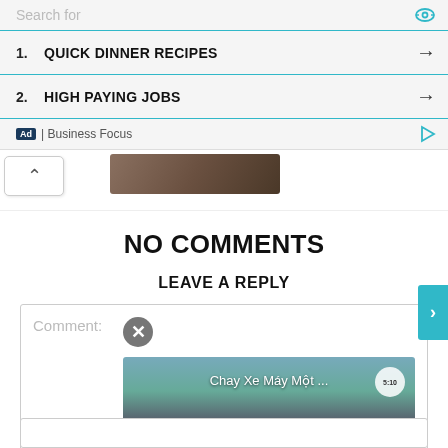Search for
1. QUICK DINNER RECIPES →
2. HIGH PAYING JOBS →
Ad | Business Focus
NO COMMENTS
LEAVE A REPLY
Comment:
[Figure (screenshot): Video thumbnail showing a temple scene with text 'Chay Xe Máy Một ...' and a play button overlay. A circular timer/close button is visible in the top right.]